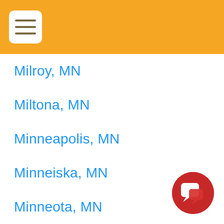[Figure (other): Yellow/gold header bar with hamburger menu button (three horizontal lines in a white rounded rectangle)]
Milroy, MN
Miltona, MN
Minneapolis, MN
Minneiska, MN
Minneota, MN
Minnesota City, MN
Minnesota Lake, MN
Minnetonka, MN
[Figure (illustration): Red circular chat/message button icon in bottom-right corner]